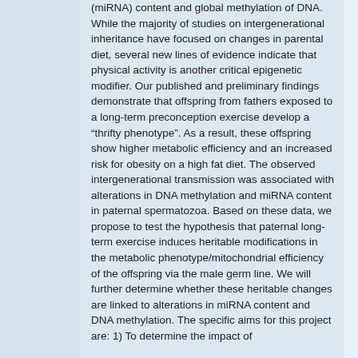(miRNA) content and global methylation of DNA. While the majority of studies on intergenerational inheritance have focused on changes in parental diet, several new lines of evidence indicate that physical activity is another critical epigenetic modifier. Our published and preliminary findings demonstrate that offspring from fathers exposed to a long-term preconception exercise develop a “thrifty phenotype”. As a result, these offspring show higher metabolic efficiency and an increased risk for obesity on a high fat diet. The observed intergenerational transmission was associated with alterations in DNA methylation and miRNA content in paternal spermatozoa. Based on these data, we propose to test the hypothesis that paternal long-term exercise induces heritable modifications in the metabolic phenotype/mitochondrial efficiency of the offspring via the male germ line. We will further determine whether these heritable changes are linked to alterations in miRNA content and DNA methylation. The specific aims for this project are: 1) To determine the impact of